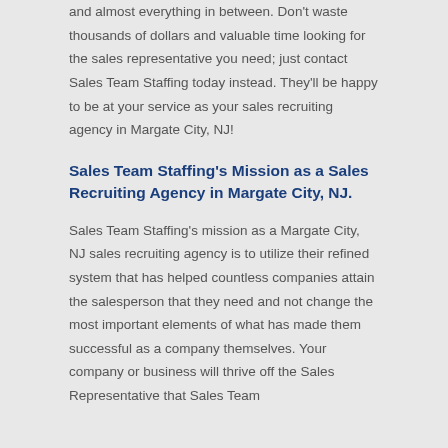and almost everything in between. Don't waste thousands of dollars and valuable time looking for the sales representative you need; just contact Sales Team Staffing today instead. They'll be happy to be at your service as your sales recruiting agency in Margate City, NJ!
Sales Team Staffing's Mission as a Sales Recruiting Agency in Margate City, NJ.
Sales Team Staffing's mission as a Margate City, NJ sales recruiting agency is to utilize their refined system that has helped countless companies attain the salesperson that they need and not change the most important elements of what has made them successful as a company themselves. Your company or business will thrive off the Sales Representative that Sales Team